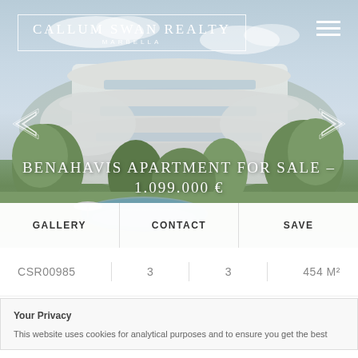[Figure (photo): Aerial/exterior view of a modern luxury apartment complex with curved white balconies and terraces, surrounded by lush green landscaping and a pool area. Sky in background.]
CALLUM SWAN REALTY MARBELLA
BENAHAVIS APARTMENT FOR SALE – 1.099.000 €
GALLERY   CONTACT   SAVE
CSR00985   3   3   454 M²
Your Privacy
This website uses cookies for analytical purposes and to ensure you get the best